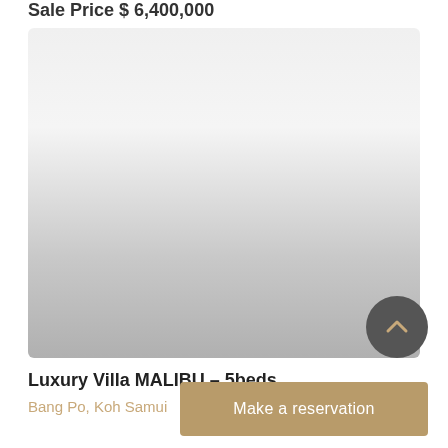Sale Price $ 6,400,000
[Figure (photo): Property listing image placeholder - light gray gradient background representing a property photo]
Luxury Villa MALIBU – 5beds
Bang Po, Koh Samui
Make a reservation